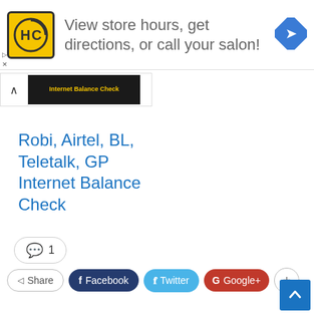[Figure (infographic): Advertisement banner with HC logo (yellow background, HC letters in circular arrow), text 'View store hours, get directions, or call your salon!' and a blue navigation direction icon on the right]
[Figure (screenshot): Collapsed ad strip with an up caret arrow and a dark image thumbnail labeled 'Internet Balance Check']
Robi, Airtel, BL, Teletalk, GP Internet Balance Check
💬 1
Share  Facebook  Twitter  Google+  +